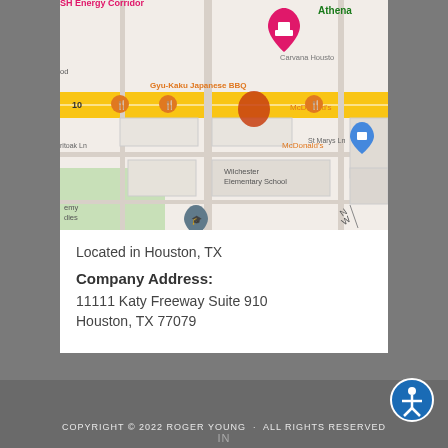[Figure (map): Google Maps screenshot showing location near Katy Freeway (I-10) in Houston TX, with markers for McDonald's, Gyu-Kaku Japanese BBQ, Wilchester Elementary School, and nearby businesses. A red/orange pin marks the office at 910a.]
Located in Houston, TX
Company Address:
11111 Katy Freeway Suite 910
Houston, TX 77079
COPYRIGHT © 2022 ROGER YOUNG · ALL RIGHTS RESERVED